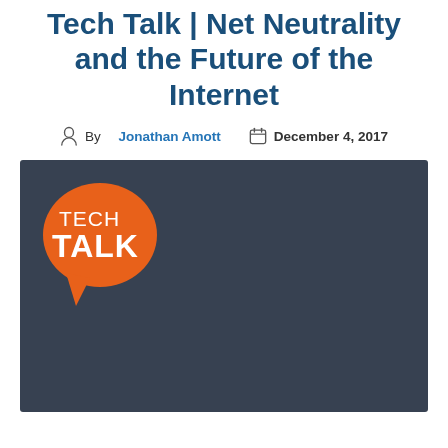Tech Talk | Net Neutrality and the Future of the Internet
By Jonathan Amott  December 4, 2017
[Figure (illustration): Dark blue-grey rectangle background with an orange speech bubble logo in the top-left corner. The speech bubble contains the text TECH TALK in white, with TALK in bold larger font.]